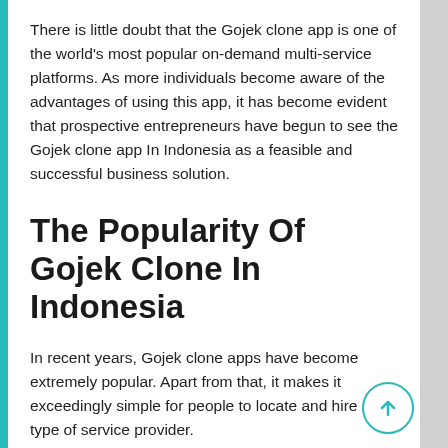There is little doubt that the Gojek clone app is one of the world's most popular on-demand multi-service platforms. As more individuals become aware of the advantages of using this app, it has become evident that prospective entrepreneurs have begun to see the Gojek clone app In Indonesia as a feasible and successful business solution.
The Popularity Of Gojek Clone In Indonesia
In recent years, Gojek clone apps have become extremely popular. Apart from that, it makes it exceedingly simple for people to locate and hire any type of service provider.